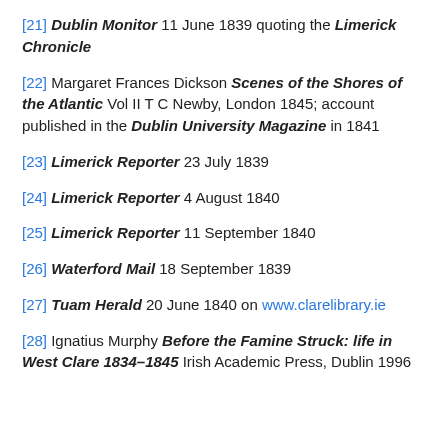[21] Dublin Monitor 11 June 1839 quoting the Limerick Chronicle
[22] Margaret Frances Dickson Scenes of the Shores of the Atlantic Vol II T C Newby, London 1845; account published in the Dublin University Magazine in 1841
[23] Limerick Reporter 23 July 1839
[24] Limerick Reporter 4 August 1840
[25] Limerick Reporter 11 September 1840
[26] Waterford Mail 18 September 1839
[27] Tuam Herald 20 June 1840 on www.clarelibrary.ie
[28] Ignatius Murphy Before the Famine Struck: life in West Clare 1834–1845 Irish Academic Press, Dublin 1996